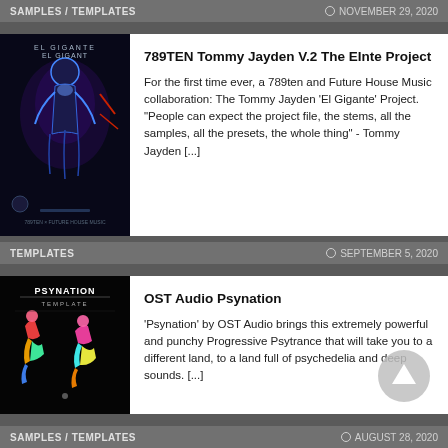SAMPLES / TEMPLATES   NOVEMBER 29, 2020
789TEN Tommy Jayden V.2 The EInte Project
For the first time ever, a 789ten and Future House Music collaboration: The Tommy Jayden 'El Gigante' Project. "People can expect the project file, the stems, all the samples, all the presets, the whole thing" - Tommy Jayden [...]
[Figure (photo): Album art for El Gigante - dark background with neon blue humanoid figure with purple/red accents]
TEMPLATES   SEPTEMBER 5, 2020
OST Audio Psynation
'Psynation' by OST Audio brings this extremely powerful and punchy Progressive Psytrance that will take you to a different land, to a land full of psychedelia and deep sounds. [...]
[Figure (photo): Psynation template cover - black background with colorful dancers and PSYNATION TEMPLATE text]
SAMPLES / TEMPLATES   AUGUST 28, 2020